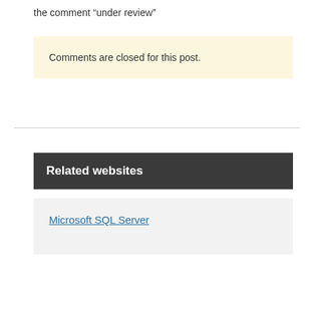the comment “under review”
Comments are closed for this post.
Related websites
Microsoft SQL Server